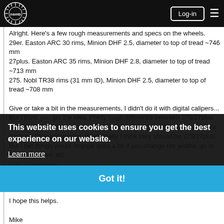nsmb Log-in [menu]
Alright. Here's a few rough measurements and specs on the wheels.
29er. Easton ARC 30 rims, Minion DHF 2.5, diameter to top of tread ~746 mm
27plus. Easton ARC 35 rims, Minion DHF 2.8, diameter to top of tread ~713 mm
275. Nobl TR38 rims (31 mm ID), Minion DHF 2.5, diameter to top of tread ~708 mm

Give or take a bit in the measurements, I didn't do it with digital calipers... But I think you get the idea. Pretty huge difference between 275/27plus and 29. When I first measured, it kinda surprised me that companies are claiming 29 is compatible, when really I think they should be 275/27plus. But I bet things would change quite a bit if you change rim widths, go to bigger 3.0 tires, etc. Lots of variables!
I hope this helps.
Mike
This website uses cookies to ensure you get the best experience on our website.
Learn more
Got it!